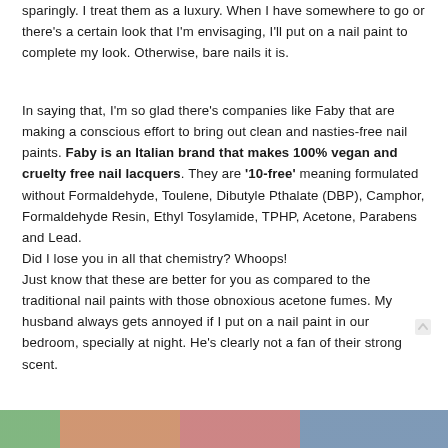sparingly. I treat them as a luxury. When I have somewhere to go or there's a certain look that I'm envisaging, I'll put on a nail paint to complete my look. Otherwise, bare nails it is.
In saying that, I'm so glad there's companies like Faby that are making a conscious effort to bring out clean and nasties-free nail paints. Faby is an Italian brand that makes 100% vegan and cruelty free nail lacquers. They are '10-free' meaning formulated without Formaldehyde, Toulene, Dibutyle Pthalate (DBP), Camphor, Formaldehyde Resin, Ethyl Tosylamide, TPHP, Acetone, Parabens and Lead.
Did I lose you in all that chemistry? Whoops!
Just know that these are better for you as compared to the traditional nail paints with those obnoxious acetone fumes. My husband always gets annoyed if I put on a nail paint in our bedroom, specially at night. He's clearly not a fan of their strong scent.
[Figure (photo): A colorful photo strip at the bottom of the page, showing images related to nail paints or beauty products]